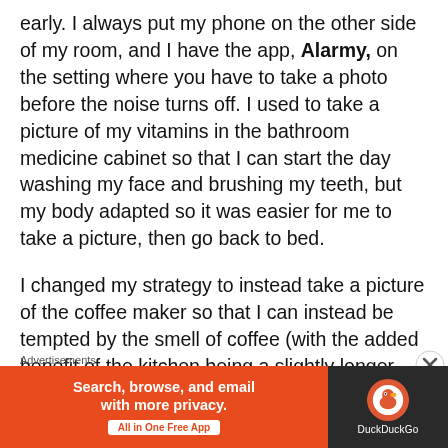early. I always put my phone on the other side of my room, and I have the app, Alarmy, on the setting where you have to take a photo before the noise turns off. I used to take a picture of my vitamins in the bathroom medicine cabinet so that I can start the day washing my face and brushing my teeth, but my body adapted so it was easier for me to take a picture, then go back to bed.
I changed my strategy to instead take a picture of the coffee maker so that I can instead be tempted by the smell of coffee (with the added benefit of the kitchen being a slightly longer walk
Advertisements
[Figure (other): DuckDuckGo advertisement banner. Orange left panel with text 'Search, browse, and email with more privacy. All in One Free App'. Dark right panel with DuckDuckGo logo and name.]